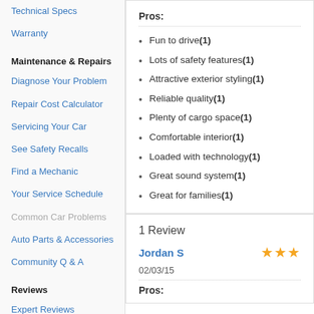Technical Specs
Warranty
Maintenance & Repairs
Diagnose Your Problem
Repair Cost Calculator
Servicing Your Car
See Safety Recalls
Find a Mechanic
Your Service Schedule
Common Car Problems
Auto Parts & Accessories
Community Q & A
Reviews
Expert Reviews
User Reviews
Pros:
Fun to drive (1)
Lots of safety features (1)
Attractive exterior styling (1)
Reliable quality (1)
Plenty of cargo space (1)
Comfortable interior (1)
Loaded with technology (1)
Great sound system (1)
Great for families (1)
1 Review
Jordan S
02/03/15
Pros: